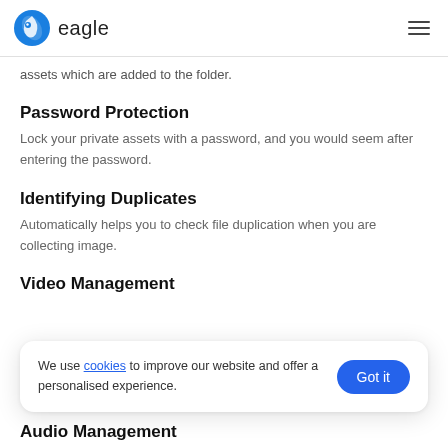eagle
assets which are added to the folder.
Password Protection
Lock your private assets with a password, and you would seem after entering the password.
Identifying Duplicates
Automatically helps you to check file duplication when you are collecting image.
Video Management
We use cookies to improve our website and offer a personalised experience.
Audio Management